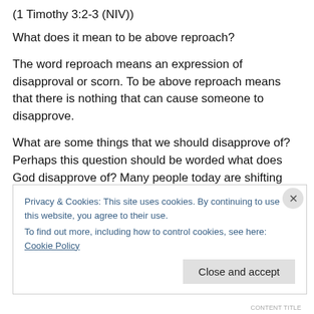(1 Timothy 3:2-3 (NIV))
What does it mean to be above reproach?
The word reproach means an expression of disapproval or scorn. To be above reproach means that there is nothing that can cause someone to disapprove.
What are some things that we should disapprove of? Perhaps this question should be worded what does God disapprove of? Many people today are shifting what their thinking is on this topic.
Privacy & Cookies: This site uses cookies. By continuing to use this website, you agree to their use.
To find out more, including how to control cookies, see here: Cookie Policy
Close and accept